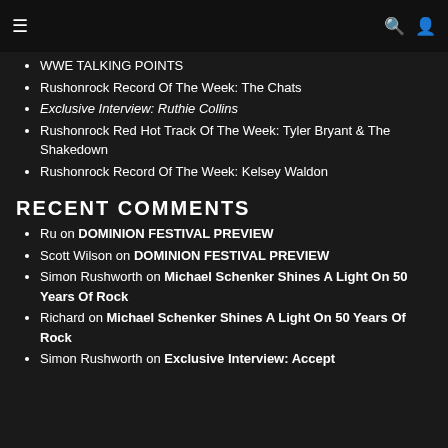≡  🔍 👤
WWE TALKING POINTS
Rushonrock Record Of The Week: The Chats
Exclusive Interview: Ruthie Collins
Rushonrock Red Hot Track Of The Week: Tyler Bryant & The Shakedown
Rushonrock Record Of The Week: Kelsey Waldon
RECENT COMMENTS
Ru on DOMINION FESTIVAL PREVIEW
Scott Wilson on DOMINION FESTIVAL PREVIEW
Simon Rushworth on Michael Schenker Shines A Light On 50 Years Of Rock
Richard on Michael Schenker Shines A Light On 50 Years Of Rock
Simon Rushworth on Exclusive Interview: Accept